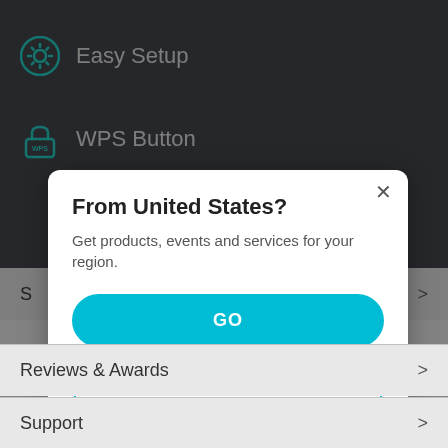[Figure (screenshot): Dark background app menu showing 'Easy Setup' with gear icon and 'WPS Button' with WPS lock icon]
From United States?
Get products, events and services for your region.
GO
Other Option
Reviews & Awards >
Support >